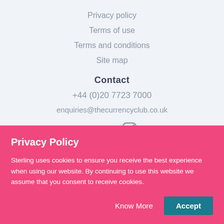Privacy policy
Terms of use
Terms and conditions
Site map
Contact
+44 (0)20 7723 7000
enquiries@thecurrencyclub.co.uk
[Figure (other): Social media icons: Facebook, Twitter, Instagram]
Privacy Policy
Sterling uses cookies to ensure you receive the best experience when using our website. By continuing to use this website we assume that you consent to receive cookies.
Know More   Accept
(FCA no. 504439) under the PSD Directive and governed by HM